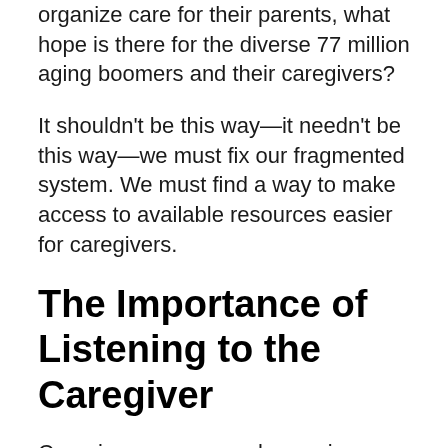organize care for their parents, what hope is there for the diverse 77 million aging boomers and their caregivers?
It shouldn't be this way—it needn't be this way—we must fix our fragmented system. We must find a way to make access to available resources easier for caregivers.
The Importance of Listening to the Caregiver
Caregivers are our early warning system and must be listened to—studies show that in patients with dementing illnesses, such as Alzheimer's dementia, caregivers are right about changes for conditions in the patient…